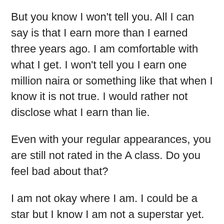But you know I won't tell you. All I can say is that I earn more than I earned three years ago. I am comfortable with what I get. I won't tell you I earn one million naira or something like that when I know it is not true. I would rather not disclose what I earn than lie.
Even with your regular appearances, you are still not rated in the A class. Do you feel bad about that?
I am not okay where I am. I could be a star but I know I am not a superstar yet. But I know that in the future, I am going to be a super, superstar. That is where I am going.
People that started with me four years ago are not